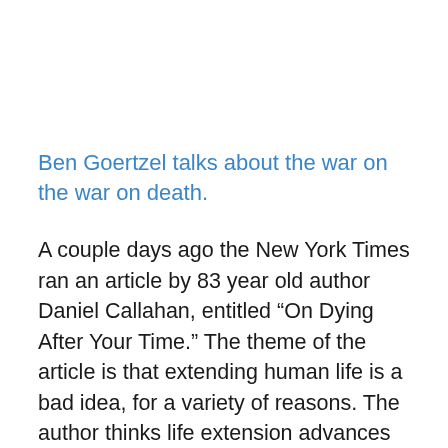Ben Goertzel talks about the war on the war on death.
A couple days ago the New York Times ran an article by 83 year old author Daniel Callahan, entitled “On Dying After Your Time.” The theme of the article is that extending human life is a bad idea, for a variety of reasons. The author thinks life extension advances will probably result mainly in the lengthening of the unpleasant, sickness-plagued, mentally-feeble period at